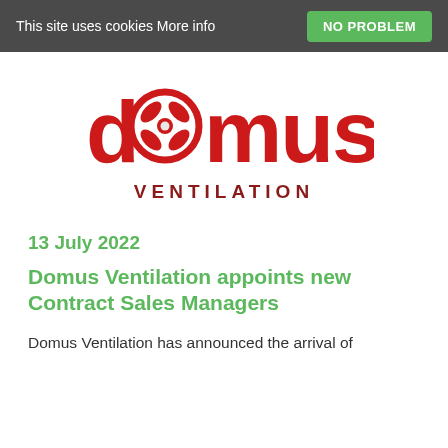This site uses cookies More info | NO PROBLEM
[Figure (logo): Domus Ventilation logo — red stylized text 'domus' with fan/propeller icon replacing the 'o', and 'VENTILATION' in dark red below]
13 July 2022
Domus Ventilation appoints new Contract Sales Managers
Domus Ventilation has announced the arrival of